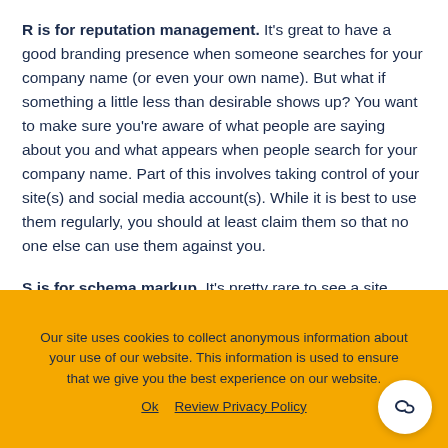R is for reputation management. It's great to have a good branding presence when someone searches for your company name (or even your own name). But what if something a little less than desirable shows up? You want to make sure you're aware of what people are saying about you and what appears when people search for your company name. Part of this involves taking control of your site(s) and social media account(s). While it is best to use them regularly, you should at least claim them so that no one else can use them against you.
S is for schema markup. It's pretty rare to see a site
Our site uses cookies to collect anonymous information about your use of our website. This information is used to ensure that we give you the best experience on our website.
Ok   Review Privacy Policy